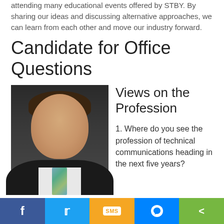attending many educational events offered by STBY. By sharing our ideas and discussing alternative approaches, we can learn from each other and move our industry forward.
Candidate for Office Questions
[Figure (photo): Portrait photo of a man in a dark suit and tie, smiling, against a dark background.]
Views on the Profession
1. Where do you see the profession of technical communications heading in the next five years?
Social share bar: Facebook, Twitter, SMS, Messenger, Share